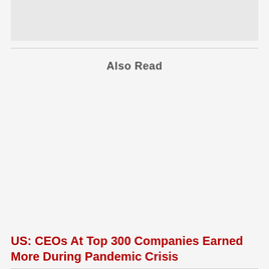[Figure (other): Gray placeholder image box at the top of the page]
Also Read
US: CEOs At Top 300 Companies Earned More During Pandemic Crisis